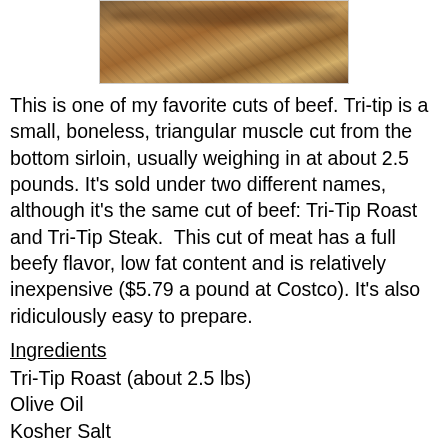[Figure (photo): Photo of a cooked tri-tip roast on a wooden surface]
This is one of my favorite cuts of beef. Tri-tip is a small, boneless, triangular muscle cut from the bottom sirloin, usually weighing in at about 2.5 pounds. It's sold under two different names, although it's the same cut of beef: Tri-Tip Roast and Tri-Tip Steak.  This cut of meat has a full beefy flavor, low fat content and is relatively inexpensive ($5.79 a pound at Costco). It's also ridiculously easy to prepare.
Ingredients
Tri-Tip Roast (about 2.5 lbs)
Olive Oil
Kosher Salt
Fresh Ground Pepper
Oven Roasting Instructions
Pre-heat oven to 425 degrees.
Rub roast all over with olive oil. Sprinkle with salt and pepper.